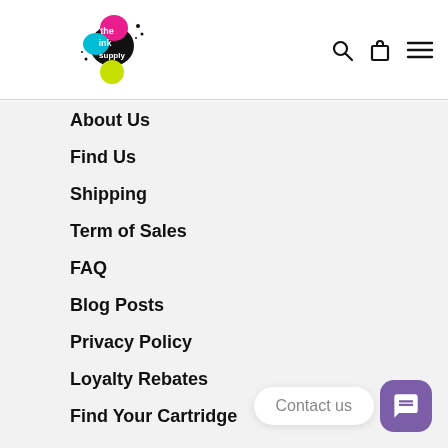[Figure (logo): The Ink Supply logo with colorful paint splotches (pink, cyan, black, yellow-green) and 'the ink supply' text]
About Us
Find Us
Shipping
Term of Sales
FAQ
Blog Posts
Privacy Policy
Loyalty Rebates
Find Your Cartridge